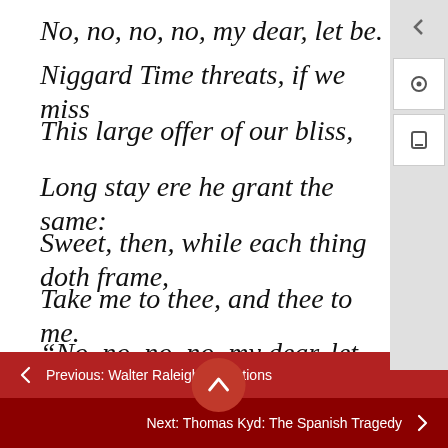No, no, no, no, my dear, let be.
Niggard Time threats, if we miss
This large offer of our bliss,
Long stay ere he grant the same:
Sweet, then, while each thing doth frame,
Take me to thee, and thee to me.
“No, no, no, no, my dear, let be.”
You fair mother is abed,
Candles out and curtains spread;
Previous: Walter Raleigh: Selections
Next: Thomas Kyd: The Spanish Tragedy